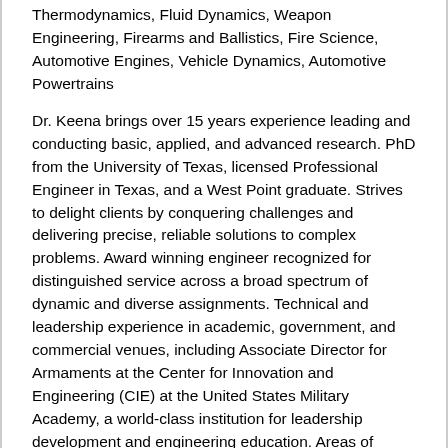Thermodynamics, Fluid Dynamics, Weapon Engineering, Firearms and Ballistics, Fire Science, Automotive Engines, Vehicle Dynamics, Automotive Powertrains
Dr. Keena brings over 15 years experience leading and conducting basic, applied, and advanced research. PhD from the University of Texas, licensed Professional Engineer in Texas, and a West Point graduate. Strives to delight clients by conquering challenges and delivering precise, reliable solutions to complex problems. Award winning engineer recognized for distinguished service across a broad spectrum of dynamic and diverse assignments. Technical and leadership experience in academic, government, and commercial venues, including Associate Director for Armaments at the Center for Innovation and Engineering (CIE) at the United States Military Academy, a world-class institution for leadership development and engineering education. Areas of academic expertise include Weapons Engineering, Automotive Engineering, Thermal-Fluid Systems, Heat Transfer, and Mechanical Engineering Design. Recipient of the Claudius Crozet Award for exemplary project advising and research collaboration and …